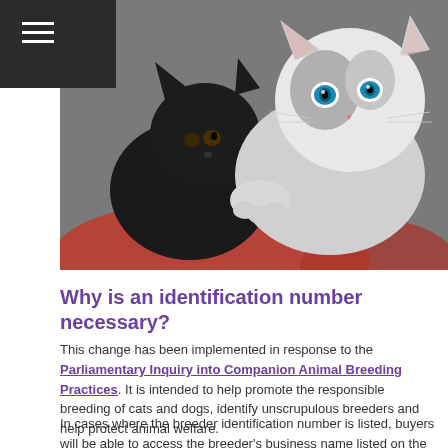≡
[Figure (photo): Two kittens — a black kitten and a grey-and-white kitten with blue eyes — being held by a person in a red garment.]
Why is an identification number necessary?
This change has been implemented in response to the Parliamentary Inquiry into Companion Animal Breeding Practices. It is intended to help promote the responsible breeding of cats and dogs, identify unscrupulous breeders and help protect animal welfare.
In cases where the breeder identification number is listed, buyers will be able to access the breeder's business name listed on the NSW Pet Registry. This will help buyers with their research and assist them in